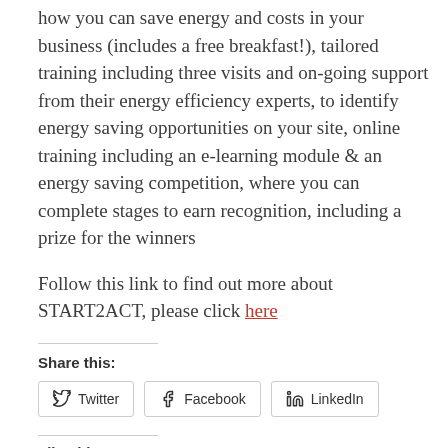how you can save energy and costs in your business (includes a free breakfast!), tailored training including three visits and on-going support from their energy efficiency experts, to identify energy saving opportunities on your site, online training including an e-learning module & an energy saving competition, where you can complete stages to earn recognition, including a prize for the winners
Follow this link to find out more about START2ACT, please click here
Share this:
Twitter Facebook LinkedIn
Like this: